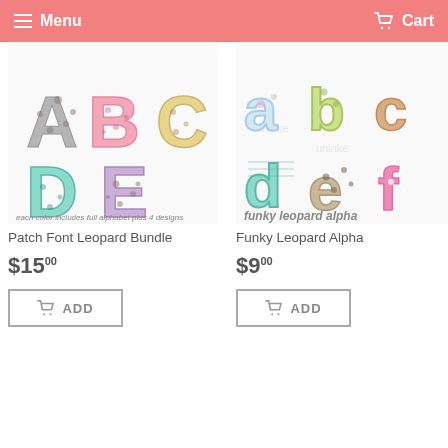Menu  Cart
[Figure (illustration): Patch Font Leopard Bundle product image showing colorful leopard print alphabet letters A, B, C, D, E with text 'each color includes full alphabet plus 4 designs']
Patch Font Leopard Bundle
$15.00
ADD
[Figure (illustration): Funky Leopard Alpha product image showing colorful funky leopard print lowercase letters a, b, c, d, e, f with text 'funky leopard alpha']
Funky Leopard Alpha
$9.00
ADD